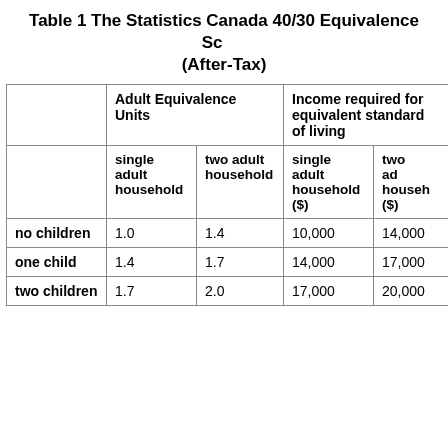Table 1 The Statistics Canada 40/30 Equivalence Scale (After-Tax)
|  | Adult Equivalence Units – single adult household | Adult Equivalence Units – two adult household | Income required for equivalent standard of living – single adult household ($) | Income required for equivalent standard of living – two adult household ($) |
| --- | --- | --- | --- | --- |
| no children | 1.0 | 1.4 | 10,000 | 14,000 |
| one child | 1.4 | 1.7 | 14,000 | 17,000 |
| two children | 1.7 | 2.0 | 17,000 | 20,000 |